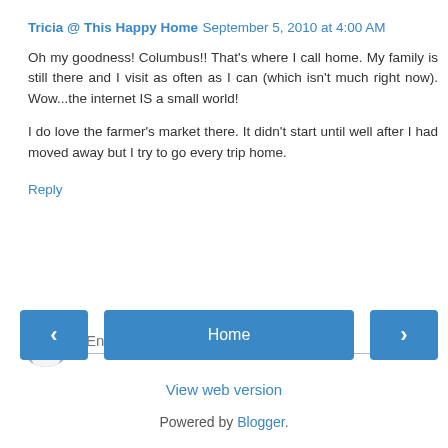Tricia @ This Happy Home  September 5, 2010 at 4:00 AM
Oh my goodness! Columbus!! That's where I call home. My family is still there and I visit as often as I can (which isn't much right now). Wow...the internet IS a small world!

I do love the farmer's market there. It didn't start until well after I had moved away but I try to go every trip home.
Reply
[Figure (illustration): Gray avatar icon with user silhouette, circular shape]
Enter Comment
< (back navigation button)
Home
> (forward navigation button)
View web version
Powered by Blogger.